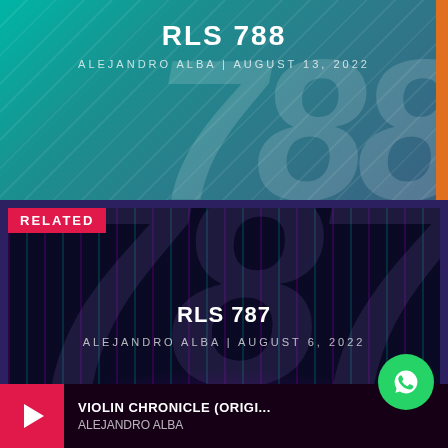[Figure (screenshot): Top banner with teal/green gradient background, diagonal line pattern, large semi-transparent '788' number watermark, orange right border strip. Shows title 'RLS 788' and subtitle 'ALEJANDRO ALBA | AUGUST 13, 2022']
RLS 788
ALEJANDRO ALBA | AUGUST 13, 2022
RELATED
[Figure (screenshot): Dark card with vertical stripe pattern in purple/teal colors, large semi-transparent '787' watermark, purple glow at bottom. Shows 'RLS 787' title and 'ALEJANDRO ALBA | AUGUST 6, 2022']
RLS 787
ALEJANDRO ALBA | AUGUST 6, 2022
VIOLIN CHRONICLE (ORIGI...
ALEJANDRO ALBA